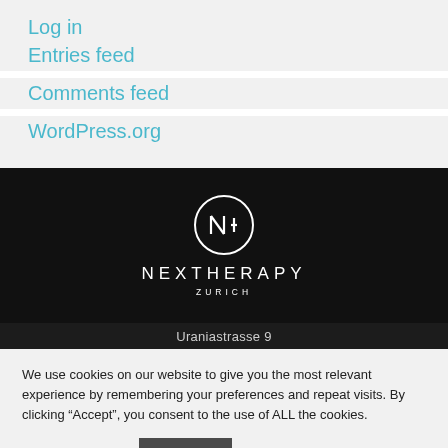Log in
Entries feed
Comments feed
WordPress.org
[Figure (logo): Nextherapy Zurich logo — white circle with stylized NH monogram, brand name NEXTHERAPY and subtitle ZURICH on black background]
Uraniastrasse 9
We use cookies on our website to give you the most relevant experience by remembering your preferences and repeat visits. By clicking “Accept”, you consent to the use of ALL the cookies.
Cookie settings  Accept